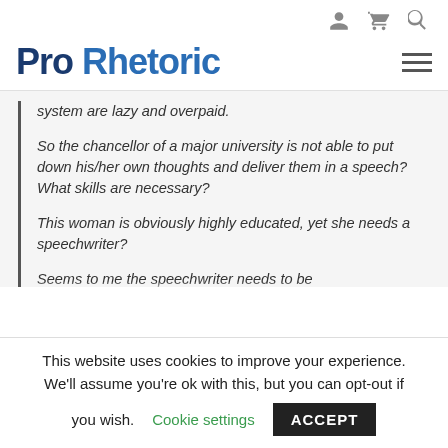Pro Rhetoric [navigation icons: user, cart, search, hamburger menu]
system are lazy and overpaid.
So the chancellor of a major university is not able to put down his/her own thoughts and deliver them in a speech? What skills are necessary?
This woman is obviously highly educated, yet she needs a speechwriter?
Seems to me the speechwriter needs to be
This website uses cookies to improve your experience. We'll assume you're ok with this, but you can opt-out if you wish. Cookie settings  ACCEPT